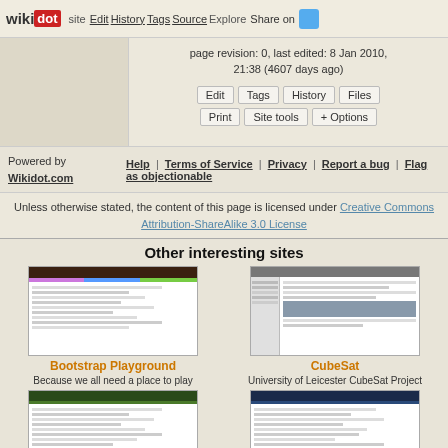wikidot | site | Edit | History | Tags | Source | Explore | Share on [Twitter]
page revision: 0, last edited: 8 Jan 2010, 21:38 (4607 days ago)
Edit | Tags | History | Files | Print | Site tools | + Options
Powered by Wikidot.com | Help | Terms of Service | Privacy | Report a bug | Flag as objectionable
Unless otherwise stated, the content of this page is licensed under Creative Commons Attribution-ShareAlike 3.0 License
Other interesting sites
[Figure (screenshot): Bootstrap Playground website thumbnail]
Bootstrap Playground
Because we all need a place to play
[Figure (screenshot): CubeSat website thumbnail]
CubeSat
University of Leicester CubeSat Project
[Figure (screenshot): Energy Club website thumbnail]
Energy Club
University of Alberta
[Figure (screenshot): WPTS website thumbnail]
WPTS
pittsburgh's progressive FM